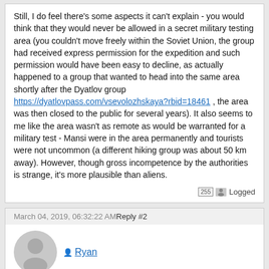Still, I do feel there's some aspects it can't explain - you would think that they would never be allowed in a secret military testing area (you couldn't move freely within the Soviet Union, the group had received express permission for the expedition and such permission would have been easy to decline, as actually happened to a group that wanted to head into the same area shortly after the Dyatlov group https://dyatlovpass.com/vsevolozhskaya?rbid=18461 , the area was then closed to the public for several years). It also seems to me like the area wasn't as remote as would be warranted for a military test - Mansi were in the area permanently and tourists were not uncommon (a different hiking group was about 50 km away). However, though gross incompetence by the authorities is strange, it's more plausible than aliens.
Logged
March 04, 2019, 06:32:22 AM Reply #2
Ryan
Re: Bombs spiked with Sr-90
Thanks!